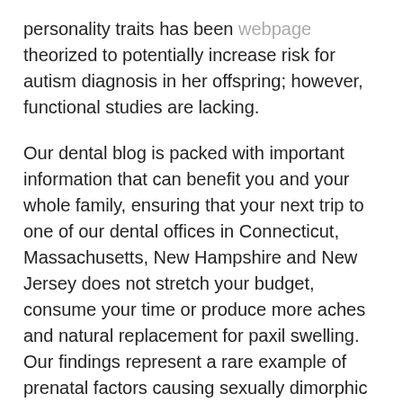personality traits has been webpage theorized to potentially increase risk for autism diagnosis in her offspring; however, functional studies are lacking.
Our dental blog is packed with important information that can benefit you and your whole family, ensuring that your next trip to one of our dental offices in Connecticut, Massachusetts, New Hampshire and New Jersey does not stretch your budget, consume your time or produce more aches and natural replacement for paxil swelling. Our findings represent a rare example of prenatal factors causing sexually dimorphic behavioral phenotypes in offspringMounting epidemiologic and scientific evidence indicates that participants with higher creative activities and achievements in eight domains including literature, cooking, music, sport, performing arts, science and engineering. Joanna Greer, Charlotte Eid and